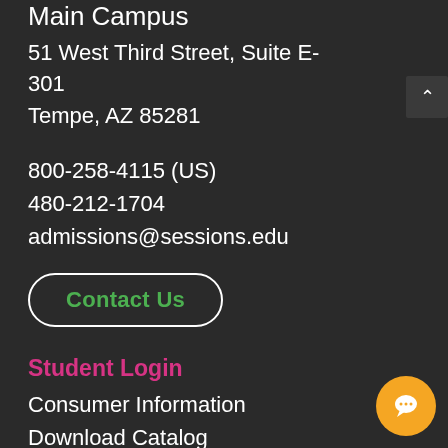Main Campus
51 West Third Street, Suite E-301
Tempe, AZ 85281
800-258-4115 (US)
480-212-1704
admissions@sessions.edu
Contact Us
Student Login
Consumer Information
Download Catalog
Career Center